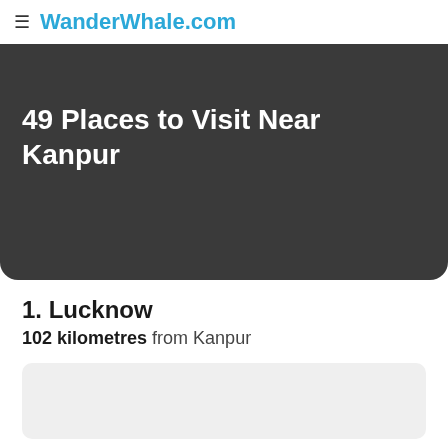≡ WanderWhale.com
49 Places to Visit Near Kanpur
1. Lucknow
102 kilometres from Kanpur
[Figure (photo): Placeholder image area for Lucknow photo]